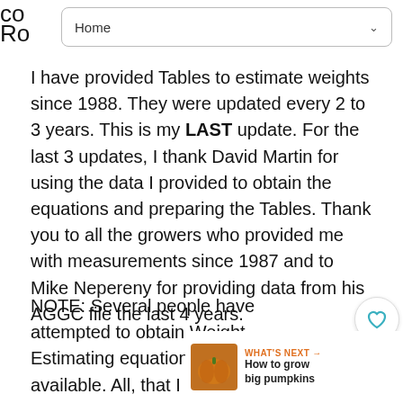Home
I have provided Tables to estimate weights since 1988. They were updated every 2 to 3 years. This is my LAST update. For the last 3 updates, I thank David Martin for using the data I provided to obtain the equations and preparing the Tables. Thank you to all the growers who provided me with measurements since 1987 and to Mike Nepereny for providing data from his AGGC file the last 4 years.
NOTE: Several people have attempted to obtain Weight Estimating equations RAW data available. All, that I know of, obtained equations that over-estimated below